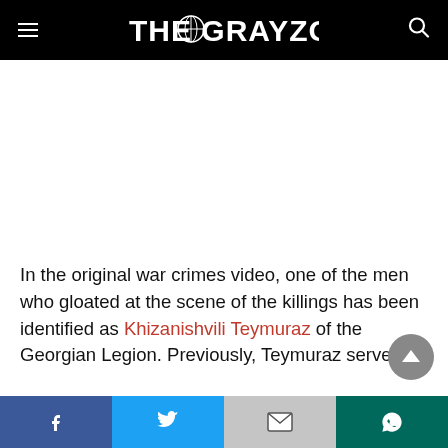THE GRAYZONE
[Figure (other): Advertisement or blank image area]
In the original war crimes video, one of the men who gloated at the scene of the killings has been identified as Khizanishvili Teymuraz of the Georgian Legion. Previously, Teymuraz served as
Facebook | Twitter | Gmail/Email | WhatsApp share buttons